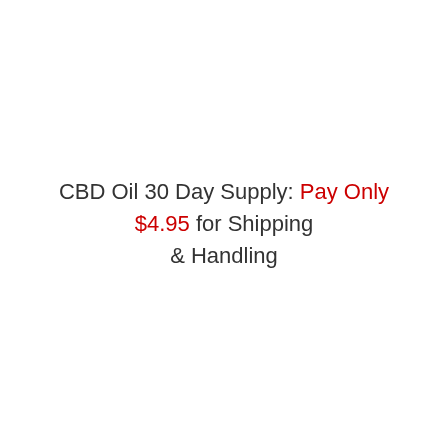CBD Oil 30 Day Supply: Pay Only $4.95 for Shipping & Handling